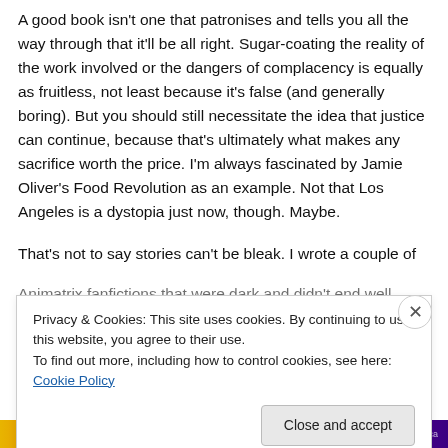A good book isn't one that patronises and tells you all the way through that it'll be all right. Sugar-coating the reality of the work involved or the dangers of complacency is equally as fruitless, not least because it's false (and generally boring). But you should still necessitate the idea that justice can continue, because that's ultimately what makes any sacrifice worth the price. I'm always fascinated by Jamie Oliver's Food Revolution as an example. Not that Los Angeles is a dystopia just now, though. Maybe.
That's not to say stories can't be bleak. I wrote a couple of Animatrix fanfictions that were dark and didn't end well...
Privacy & Cookies: This site uses cookies. By continuing to use this website, you agree to their use.
To find out more, including how to control cookies, see here: Cookie Policy